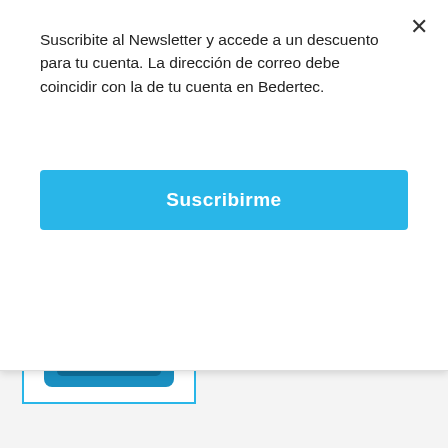Suscribite al Newsletter y accede a un descuento para tu cuenta. La dirección de correo debe coincidir con la de tu cuenta en Bedertec.
Suscribirme
[Figure (logo): Intel Celeron inside processor badge logo, blue and silver square chip design]
PROCESADOR CELERON G4930 DCORE 2M 3.20GHZ 1151V2
Precio en Efectivo: $ 8.279,00
IVA incluido
Cantidad
Whataspp Live Chat